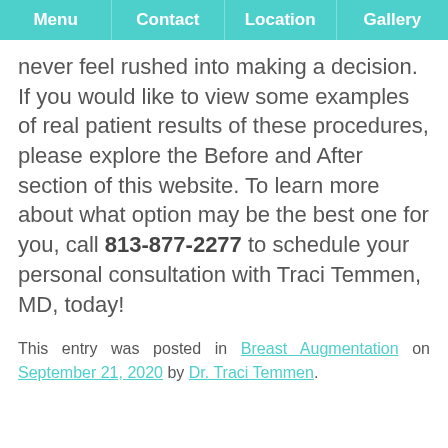Menu | Contact | Location | Gallery
never feel rushed into making a decision. If you would like to view some examples of real patient results of these procedures, please explore the Before and After section of this website. To learn more about what option may be the best one for you, call 813-877-2277 to schedule your personal consultation with Traci Temmen, MD, today!
This entry was posted in Breast Augmentation on September 21, 2020 by Dr. Traci Temmen.